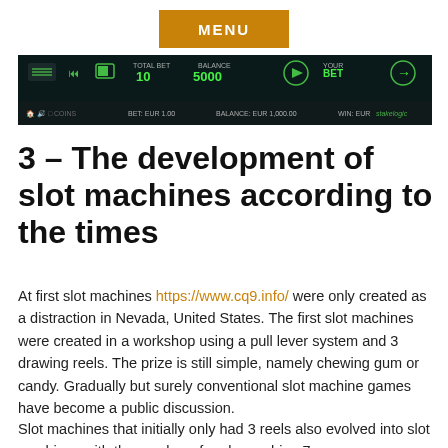MENU
[Figure (screenshot): Screenshot of a slot machine game interface showing TOTAL BET: 10, BALANCE: 5000, and a BET button, with lower bar showing COINS, BET: EUR 1.00, BALANCE: EUR 1,000.00, WIN: EUR, with stakelogic branding]
3 – The development of slot machines according to the times
At first slot machines https://www.cq9.info/ were only created as a distraction in Nevada, United States. The first slot machines were created in a workshop using a pull lever system and 3 drawing reels. The prize is still simple, namely chewing gum or candy. Gradually but surely conventional slot machine games have become a public discussion.
Slot machines that initially only had 3 reels also evolved into slot machines with the number of reels reaching 7